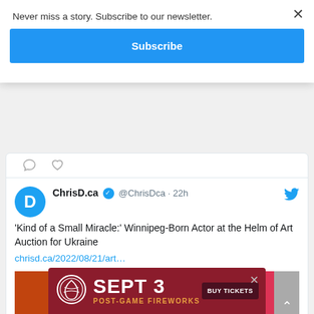Never miss a story. Subscribe to our newsletter.
Subscribe
[Figure (screenshot): Tweet card from ChrisD.ca showing icons row with comment and heart icons, then tweet by @ChrisDca 22h ago: 'Kind of a Small Miracle:' Winnipeg-Born Actor at the Helm of Art Auction for Ukraine, with link chrisd.ca/2022/08/21/art… and partial photo of people in front of orange background.]
[Figure (infographic): Ad banner: SEPT 3 POST-GAME FIREWORKS with BUY TICKETS button and circular logo on dark red background.]